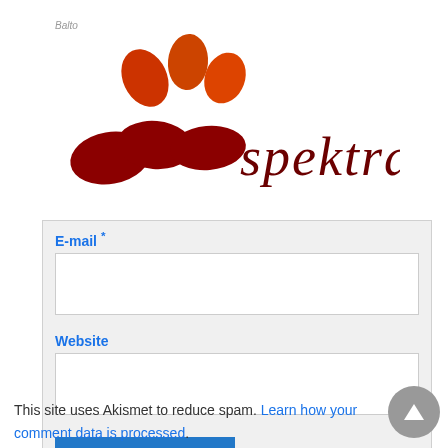[Figure (logo): Spektral logo with red splash/droplet graphic on left and stylized 'spektral' text in dark red on right]
E-mail *
Website
Post Comment
This site uses Akismet to reduce spam. Learn how your comment data is processed.